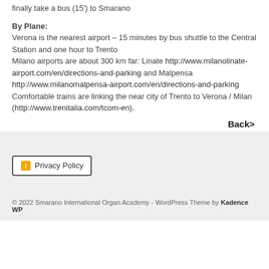finally take a bus (15') to Smarano
By Plane:
Verona is the nearest airport – 15 minutes by bus shuttle to the Central Station and one hour to Trento
Milano airports are about 300 km far: Linate http://www.milanolinate-airport.com/en/directions-and-parking and Malpensa http://www.milanomalpensa-airport.com/en/directions-and-parking
Comfortable trains are linking the near city of Trento to Verona / Milan (http://www.trenitalia.com/tcom-en).
Back>
Privacy Policy
© 2022 Smarano International Organ Academy - WordPress Theme by Kadence WP